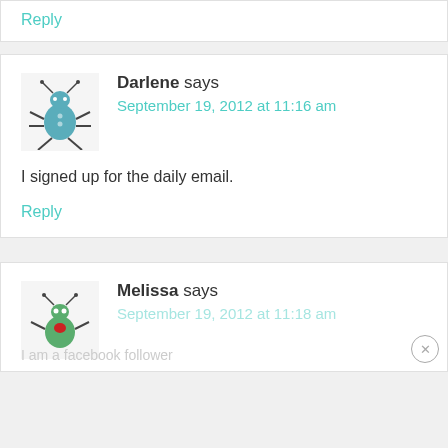Reply
Darlene says
September 19, 2012 at 11:16 am
I signed up for the daily email.
Reply
Melissa says
September 19, 2012 at 11:18 am